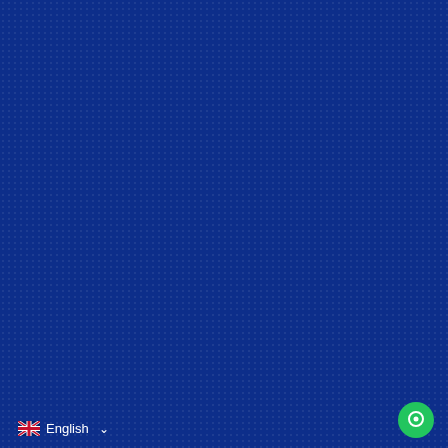[Figure (illustration): Dark navy blue textured background with a subtle dot/grid pattern covering the entire page]
English
[Figure (illustration): Green circular chat button with a speech bubble icon in the bottom right corner]